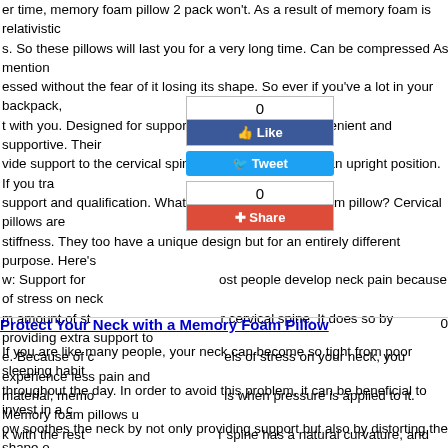er time, memory foam pillow 2 pack won't. As a result of memory foam is relativistic. So these pillows will last you for a very long time. Can be compressed As mentioned without the fear of it losing its shape. So ever if you've a lot in your backpack, t with you. Designed for support Travel pillows are convenient and supportive. Their vide support to the cervical spine while you're sitting in an upright position. If you tra support and qualification. What is a cervical memory foam pillow? Cervical pillows are stiffness. They too have a unique design but for an entirely different purpose. Here's w: Support for most people develop neck pain because of stress on neck m amount of st r cervical spine. It does so by providing extra support to e. Because of c els of stress on your neck, you experience less pain and material, memos when pressure is applied to it. Memory foam pillows use k with the rest o r spine has a natural curvature, and when it isn't maint in muscle pain iation. A cervical memory foam pillow is perfectly capable am neck pillow: omfort and relief. They provide firm support to the cervi ailable in diffe  can select the one that meets your needs. FAQs Q:- W ld I select? A:- elect a shredded memory foam pillow, as it is adjustable ck pain. Q:-If I p w into my backpack, will it compress over time? A:- No. W er time, memory foam pillows don't, as it is a very dense material that bounces back ervical memory foam pillows work for me if I have a neck injury? A:- Cervical memory ort and reduce the stress on it. This may alleviate some of the pain and provide you e time to heal properly.
[Figure (infographic): Social sharing widget with Like (0), Tweet, and Share (0) buttons overlaid on the text.]
Protect Your Neck with a Memory Foam Pillow
If you are like many people, your neck can become so tight from poor sleeping habits throughout the day. In order to avoid this problem, it can be beneficial to invest in a c ow soothes the neck by not only providing support but also by distorting the shape o od night's sleep. If you want more control over how your neck feels throughout the d hat offers customization. After you have your memory foam pillow, you can use it eve